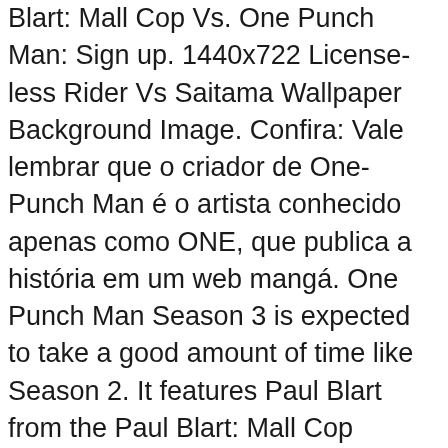Blart: Mall Cop Vs. One Punch Man: Sign up. 1440x722 License-less Rider Vs Saitama Wallpaper Background Image. Confira: Vale lembrar que o criador de One-Punch Man é o artista conhecido apenas como ONE, que publica a história em um web mangá. One Punch Man Season 3 is expected to take a good amount of time like Season 2. It features Paul Blart from the Paul Blart: Mall Cop movies and Mumen rider from the anime/manga series One Punch Man. Saitama .. 1 Summary 2 Characters in Order of Appearance 3 Manga and Anime Differences 4 Trivia 5 Navigation A man named Hammerhead is out to make a utopia of the overworked and underpaid model of modern society. A dica está presente em uma tirinha ilustrada pelo próprio Murata. 2. 2:59. And it's one of the easiest ways to do it besides music. Genos. Death Battle by Desert Croc. No final, o personagem Mumen Rider, de One-Punch Man, aparece em sua bicicleta e pede para os fãs seguirem as dicas do mangaká. Mar 17, 2016 - Mumen Rider and